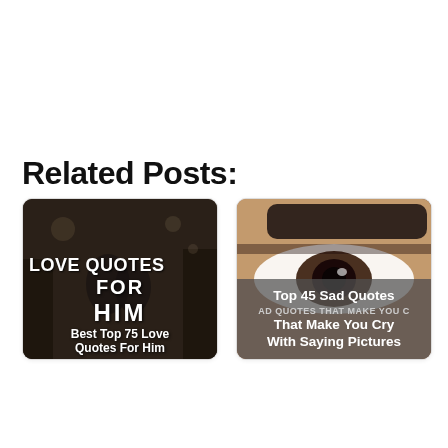Related Posts:
[Figure (photo): Card thumbnail: couple silhouette in dark moody background with text overlay 'LOVE QUOTES FOR HIM' and subtitle 'Best Top 75 Love Quotes For Him']
Best Top 75 Love Quotes For Him
[Figure (photo): Card thumbnail: close-up of a person's eye with gray overlay text 'Top 45 Sad Quotes That Make You Cry With Saying Pictures']
Top 45 Sad Quotes That Make You Cry With Saying Pictures